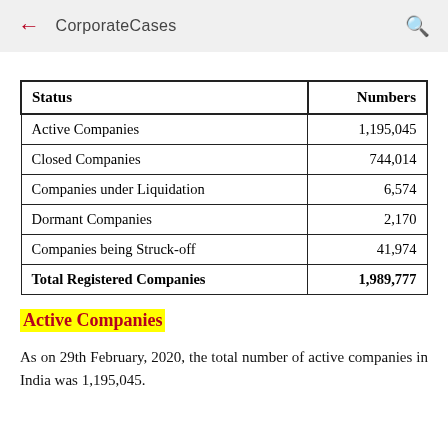CorporateCases
| Status | Numbers |
| --- | --- |
| Active Companies | 1,195,045 |
| Closed Companies | 744,014 |
| Companies under Liquidation | 6,574 |
| Dormant Companies | 2,170 |
| Companies being Struck-off | 41,974 |
| Total Registered Companies | 1,989,777 |
Active Companies
As on 29th February, 2020, the total number of active companies in India was 1,195,045.